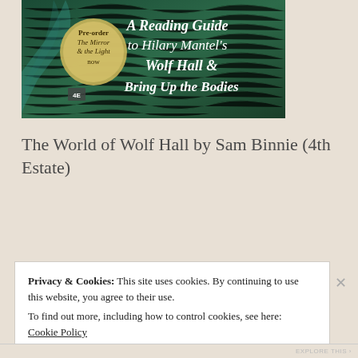[Figure (illustration): Book cover image for 'A Reading Guide to Hilary Mantel's Wolf Hall & Bring Up the Bodies' published by 4th Estate. Dark green feathered background with gold circular badge reading 'Pre-order The Mirror & the Light now'. White italic serif title text overlaid.]
The World of Wolf Hall by Sam Binnie (4th Estate)
Privacy & Cookies: This site uses cookies. By continuing to use this website, you agree to their use. To find out more, including how to control cookies, see here: Cookie Policy